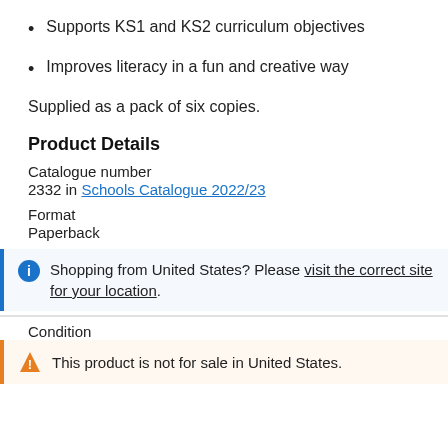Supports KS1 and KS2 curriculum objectives
Improves literacy in a fun and creative way
Supplied as a pack of six copies.
Product Details
Catalogue number
2332 in Schools Catalogue 2022/23
Format
Paperback
Shopping from United States? Please visit the correct site for your location.
Condition
This product is not for sale in United States.